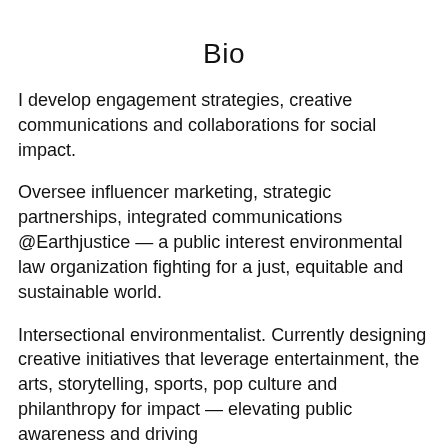Bio
I develop engagement strategies, creative communications and collaborations for social impact.
Oversee influencer marketing, strategic partnerships, integrated communications @Earthjustice — a public interest environmental law organization fighting for a just, equitable and sustainable world.
Intersectional environmentalist. Currently designing creative initiatives that leverage entertainment, the arts, storytelling, sports, pop culture and philanthropy for impact — elevating public awareness and driving